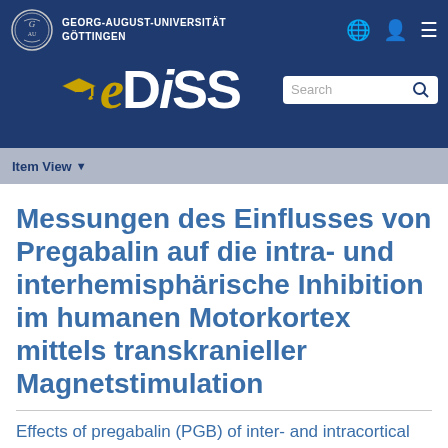[Figure (logo): Georg-August-Universität Göttingen university logo (circular seal) with university name text to the right, and navigation icons (globe, person, menu) on the far right, all on dark blue background]
[Figure (logo): eDISS logo with stylized gold italic 'e' and white 'DISS' text with a graduation cap, alongside a search box, on dark blue background]
Item View
Messungen des Einflusses von Pregabalin auf die intra- und interhemisphärische Inhibition im humanen Motorkortex mittels transkranieller Magnetstimulation
Effects of pregabalin (PGB) of inter- and intracortical inhibition on the human motor cortex with